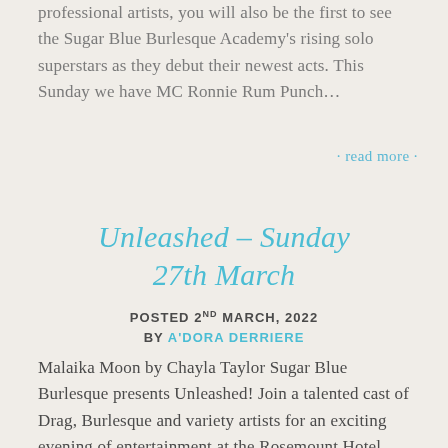professional artists, you will also be the first to see the Sugar Blue Burlesque Academy's rising solo superstars as they debut their newest acts. This Sunday we have MC Ronnie Rum Punch…
· read more ·
Unleashed – Sunday 27th March
POSTED 2ND MARCH, 2022 BY A'DORA DERRIERE
Malaika Moon by Chayla Taylor Sugar Blue Burlesque presents Unleashed! Join a talented cast of Drag, Burlesque and variety artists for an exciting evening of entertainment at the Rosemount Hotel, North Perth on Sunday 27th